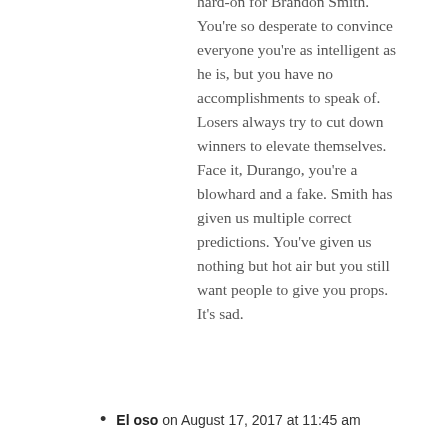hard-on for Brandon Smith. You're so desperate to convince everyone you're as intelligent as he is, but you have no accomplishments to speak of. Losers always try to cut down winners to elevate themselves. Face it, Durango, you're a blowhard and a fake. Smith has given us multiple correct predictions. You've given us nothing but hot air but you still want people to give you props. It's sad.
El oso on August 17, 2017 at 11:45 am